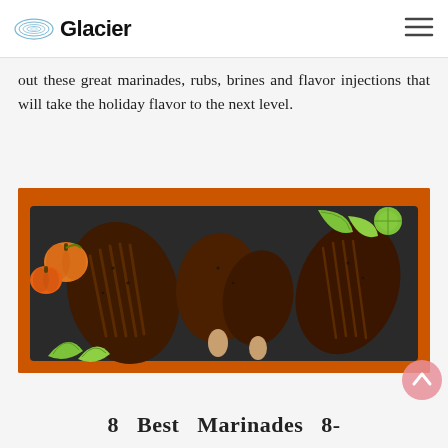Glacier
out these great marinades, rubs, brines and flavor injections that will take the holiday flavor to the next level.
[Figure (photo): Overhead shot of seasoned/rubbed grilled poultry pieces (turkey or chicken legs and breast) arranged on a dark slate board, garnished with lime wedges and small orange pumpkins, set on an orange background.]
8   Best   Marinades   8-